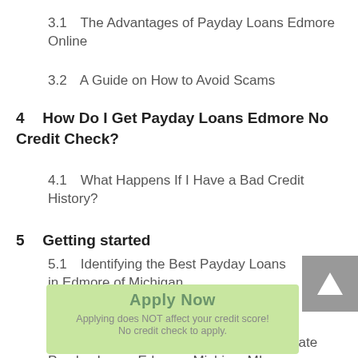3.1  The Advantages of Payday Loans Edmore Online
3.2  A Guide on How to Avoid Scams
4  How Do I Get Payday Loans Edmore No Credit Check?
4.1  What Happens If I Have a Bad Credit History?
5  Getting started
5.1  Identifying the Best Payday Loans in Edmore of Michigan
5.2  Step by Step Instruction
5.3  Things to Remember about Checkmate Payday Loans Edmore, MichiganMI
Apply Now
Applying does NOT affect your credit score! No credit check to apply.